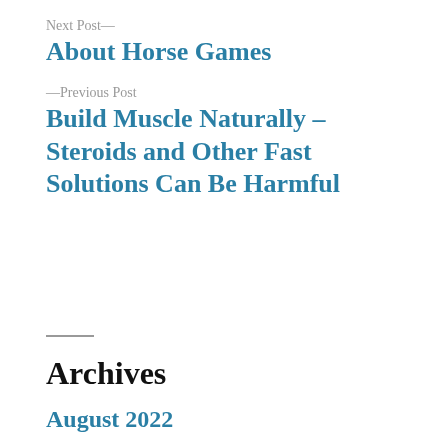Next Post—
About Horse Games
—Previous Post
Build Muscle Naturally – Steroids and Other Fast Solutions Can Be Harmful
Archives
August 2022